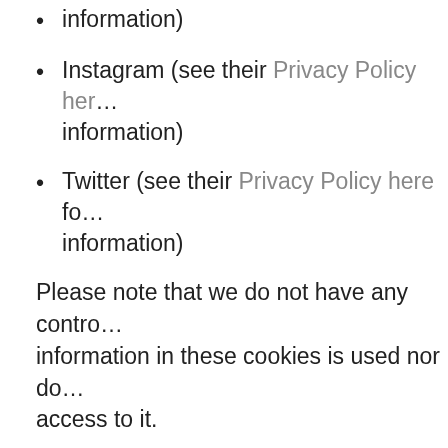information)
Instagram (see their Privacy Policy here for information)
Twitter (see their Privacy Policy here for information)
Please note that we do not have any control over the information in these cookies is used nor do we have access to it.
Your control of cookies
You have the right to decide whether to accept cookies. You can exercise your cookie preferences by indicating your preferences through the cookie i...